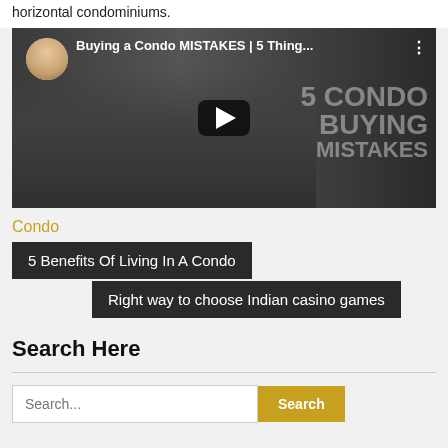horizontal condominiums.
[Figure (screenshot): YouTube video thumbnail showing a man in a suit with text overlay 'Buying a Condo MISTAKES | 5 Thing...' and background text '5 CONDO BUYING MISTAKES']
Condo
5 Benefits Of Living In A Condo
Right way to choose Indian casino games
Search Here
Search...